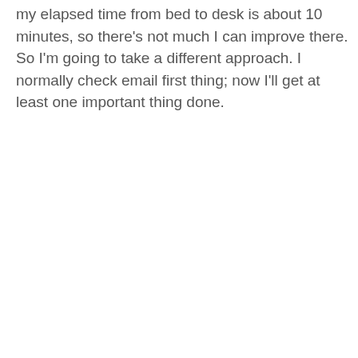my elapsed time from bed to desk is about 10 minutes, so there's not much I can improve there. So I'm going to take a different approach. I normally check email first thing; now I'll get at least one important thing done.